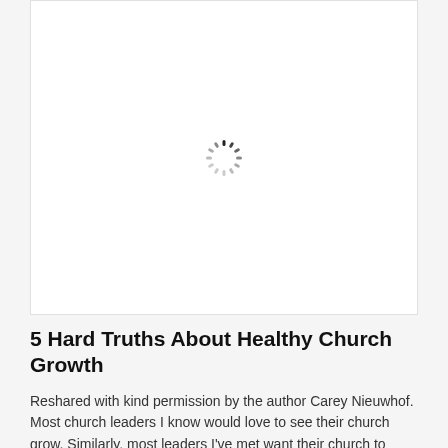[Figure (other): A white rectangular image placeholder with a loading spinner (circular dashed/segmented ring) centered in the box, indicating an image is loading.]
5 Hard Truths About Healthy Church Growth
Reshared with kind permission by the author Carey Nieuwhof. Most church leaders I know would love to see their church grow. Similarly, most leaders I've met want their church to grow for what we might call the 'right' reasons: they sincerely want more people to